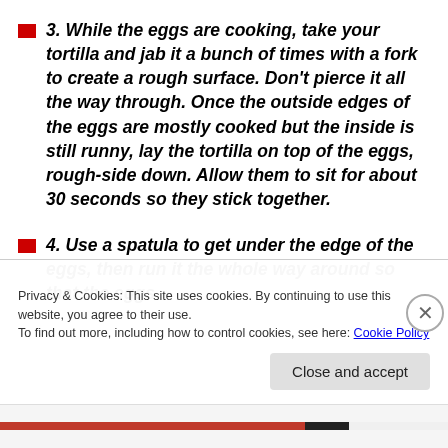3. While the eggs are cooking, take your tortilla and jab it a bunch of times with a fork to create a rough surface. Don't pierce it all the way through. Once the outside edges of the eggs are mostly cooked but the inside is still runny, lay the tortilla on top of the eggs, rough-side down. Allow them to sit for about 30 seconds so they stick together.
4. Use a spatula to get under the edge of the eggs, then run it the whole way around so that the eggs slide free. The rest of the filling then binds this...
Privacy & Cookies: This site uses cookies. By continuing to use this website, you agree to their use.
To find out more, including how to control cookies, see here: Cookie Policy